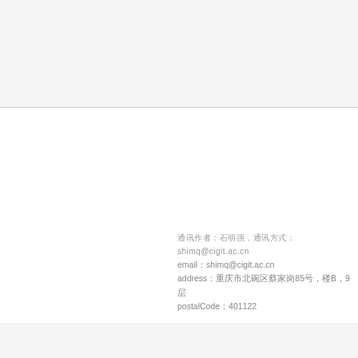通讯作者：石明强，email：shimq@cigit.ac.cn，address：重庆市北碚区蔡家岗85号，楼B，9层，postalCode：401122